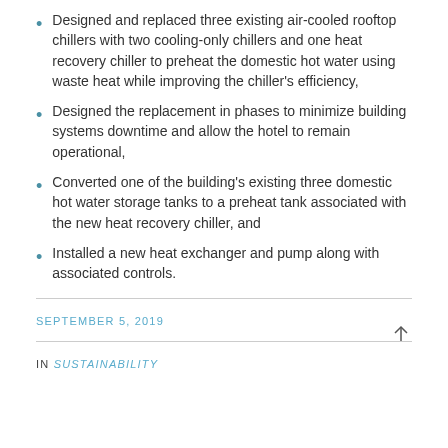Designed and replaced three existing air-cooled rooftop chillers with two cooling-only chillers and one heat recovery chiller to preheat the domestic hot water using waste heat while improving the chiller's efficiency,
Designed the replacement in phases to minimize building systems downtime and allow the hotel to remain operational,
Converted one of the building's existing three domestic hot water storage tanks to a preheat tank associated with the new heat recovery chiller, and
Installed a new heat exchanger and pump along with associated controls.
SEPTEMBER 5, 2019
IN SUSTAINABILITY